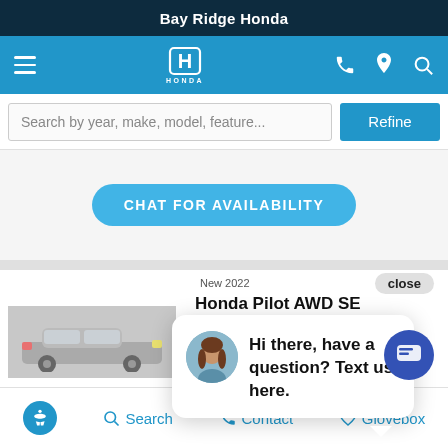Bay Ridge Honda
[Figure (screenshot): Honda dealer website navigation bar with hamburger menu, Honda logo, phone, location, and search icons on blue background]
Search by year, make, model, feature...
Refine
CHAT FOR AVAILABILITY
New 2022
close
Honda Pilot AWD SE
[Figure (photo): Gray Honda Pilot SUV vehicle image]
Hi there, have a question? Text us here.
All with no impact to your score
Search   Contact   Glovebox